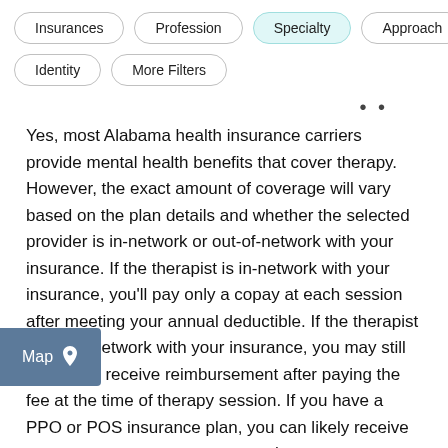Insurances
Profession
Specialty
Approach
Identity
More Filters
Yes, most Alabama health insurance carriers provide mental health benefits that cover therapy. However, the exact amount of coverage will vary based on the plan details and whether the selected provider is in-network or out-of-network with your insurance. If the therapist is in-network with your insurance, you'll pay only a copay at each session after meeting your annual deductible. If the therapist is out-of-network with your insurance, you may still be able to receive reimbursement after paying the fee at the time of therapy session. If you have a PPO or POS insurance plan, you can likely receive some ment when you see a therapist out-of-network a. If you have an HMO, EPO, or Medicaid/Medicare plan, you likely cannot receive